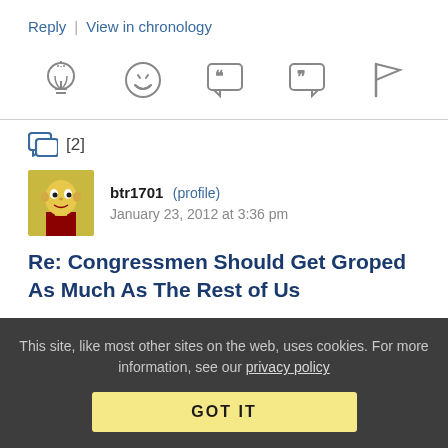Reply | View in chronology
[Figure (infographic): Row of 5 social/reaction icons: lightbulb, laughing face, open-quote speech bubble, close-quote speech bubble, flag]
[2]
[Figure (photo): Avatar image of Mr. Burns from The Simpsons]
btr1701 (profile) January 23, 2012 at 3:36 pm
Re: Congressmen Should Get Groped As Much As The Rest of Us
This site, like most other sites on the web, uses cookies. For more information, see our privacy policy
GOT IT